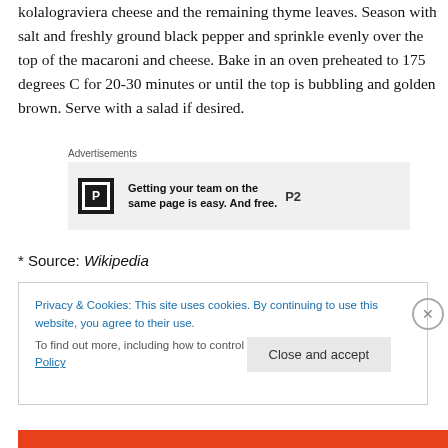kolalograviera cheese and the remaining thyme leaves. Season with salt and freshly ground black pepper and sprinkle evenly over the top of the macaroni and cheese. Bake in an oven preheated to 175 degrees C for 20-30 minutes or until the top is bubbling and golden brown. Serve with a salad if desired.
[Figure (other): Advertisement banner: P2 logo with text 'Getting your team on the same page is easy. And free.']
* Source: Wikipedia
Privacy & Cookies: This site uses cookies. By continuing to use this website, you agree to their use.
To find out more, including how to control cookies, see here: Cookie Policy
Close and accept